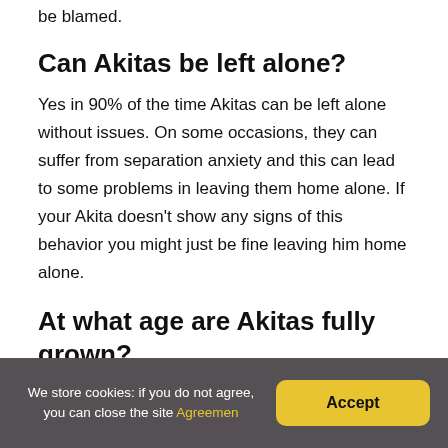be blamed.
Can Akitas be left alone?
Yes in 90% of the time Akitas can be left alone without issues. On some occasions, they can suffer from separation anxiety and this can lead to some problems in leaving them home alone. If your Akita doesn't show any signs of this behavior you might just be fine leaving him home alone.
At what age are Akitas fully grown?
We store cookies: if you do not agree, you can close the site Agreemen
Accept